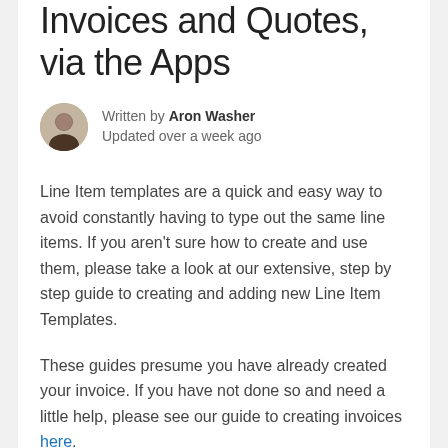Invoices and Quotes, via the Apps
Written by Aron Washer
Updated over a week ago
Line Item templates are a quick and easy way to avoid constantly having to type out the same line items. If you aren't sure how to create and use them, please take a look at our extensive, step by step guide to creating and adding new Line Item Templates.
These guides presume you have already created your invoice. If you have not done so and need a little help, please see our guide to creating invoices here.
Creating and using line item templates on the apps.
After you have created your invoice: